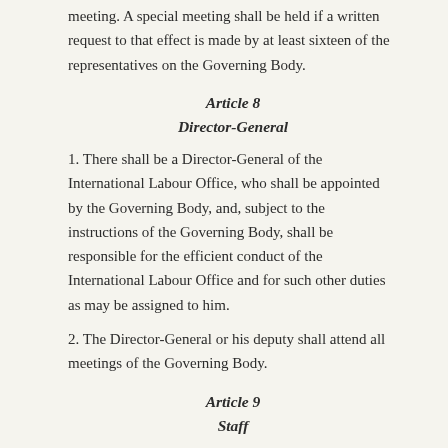meeting. A special meeting shall be held if a written request to that effect is made by at least sixteen of the representatives on the Governing Body.
Article 8
Director-General
1. There shall be a Director-General of the International Labour Office, who shall be appointed by the Governing Body, and, subject to the instructions of the Governing Body, shall be responsible for the efficient conduct of the International Labour Office and for such other duties as may be assigned to him.
2. The Director-General or his deputy shall attend all meetings of the Governing Body.
Article 9
Staff
APPOINTMENT
1. The staff of the International Labour Office